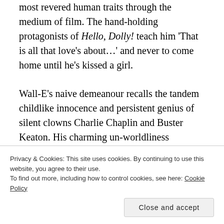most revered human traits through the medium of film. The hand-holding protagonists of Hello, Dolly! teach him 'That is all that love's about...' and never to come home until he's kissed a girl.
Wall-E's naive demeanour recalls the tandem childlike innocence and persistent genius of silent clowns Charlie Chaplin and Buster Keaton. His charming un-worldliness contrasts sharply with the 'real' humans, who gorge themselves into a state beyond recognition. Wall-E's devotion to another anthropomorphic robot, Eve, and his willingness to
Privacy & Cookies: This site uses cookies. By continuing to use this website, you agree to their use.
To find out more, including how to control cookies, see here: Cookie Policy
Close and accept